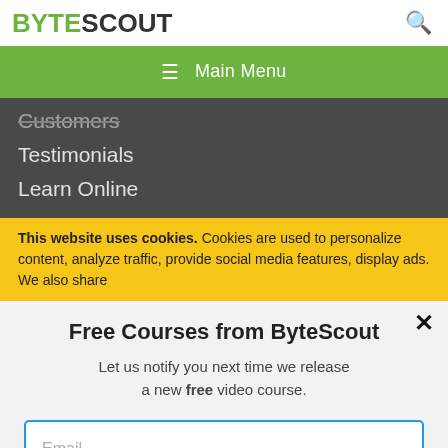BYTESCOUT
☰  Main Menu
Customers
Testimonials
Learn Online
This website uses cookies. Cookies are used to personalize content, analyze traffic, provide social media features, display ads. We also share
Free Courses from ByteScout
Let us notify you next time we release a new free video course.
Email
SUBSCRIBE